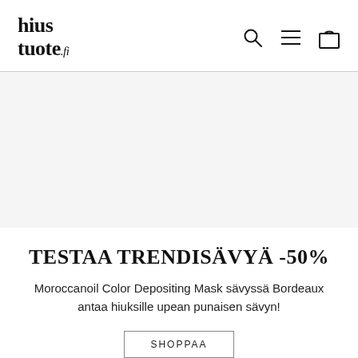hiustuote.fi
[Figure (other): Large hero image area (blank/white placeholder) for a Moroccanoil Color Depositing Mask Bordeaux promotional banner]
TESTAA TRENDISÄVYÄ -50%
Moroccanoil Color Depositing Mask sävyssä Bordeaux antaa hiuksille upean punaisen sävyn!
SHOPPAA